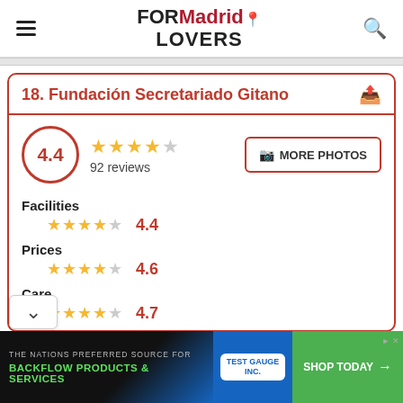FORMadridLOVERS
18. Fundación Secretariado Gitano
4.4 — 92 reviews
Facilities 4.4
Prices 4.6
Care 4.7
THE NATIONS PREFERRED SOURCE FOR BACKFLOW PRODUCTS & SERVICES — SHOP TODAY